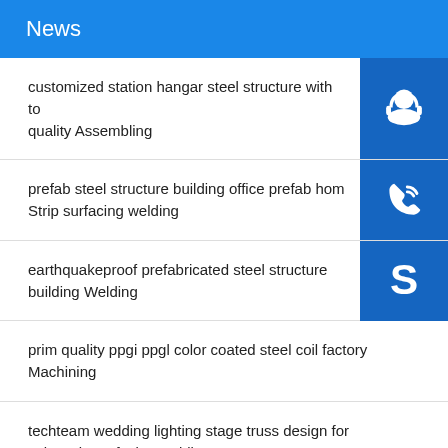News
customized station hangar steel structure with to quality Assembling
prefab steel structure building office prefab hom Strip surfacing welding
earthquakeproof prefabricated steel structure building Welding
prim quality ppgi ppgl color coated steel coil factory Machining
techteam wedding lighting stage truss design for sale Strip surfacing welding
prefabricated light gauge steel structures metal f